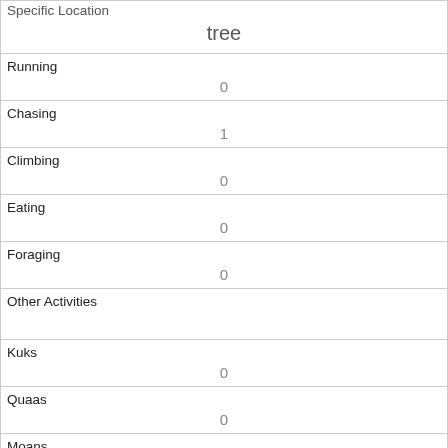| Field | Value |
| --- | --- |
| Specific Location | tree |
| Running | 0 |
| Chasing | 1 |
| Climbing | 0 |
| Eating | 0 |
| Foraging | 0 |
| Other Activities |  |
| Kuks | 0 |
| Quaas | 0 |
| Moans | 0 |
| Tail flags |  |